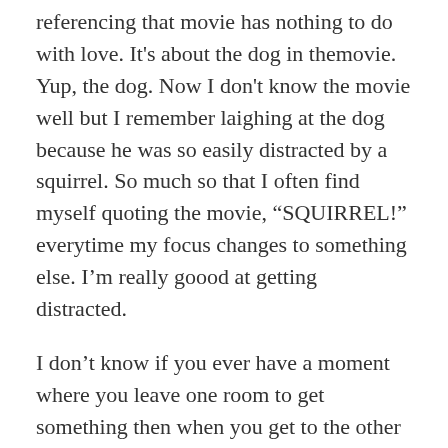referencing that movie has nothing to do with love. It's about the dog in themovie. Yup, the dog. Now I don't know the movie well but I remember laighing at the dog because he was so easily distracted by a squirrel. So much so that I often find myself quoting the movie, “SQUIRREL!” everytime my focus changes to something else. I’m really goood at getting distracted.
I don’t know if you ever have a moment where you leave one room to get something then when you get to the other room, you forgot what you were looking for.. yup that’s normal for me, except half the time I can forget what I’m looking for as soon as I leave the room. I never even make it to the second room. It’s comical to me now, but I used to call myself some pretty mean things.